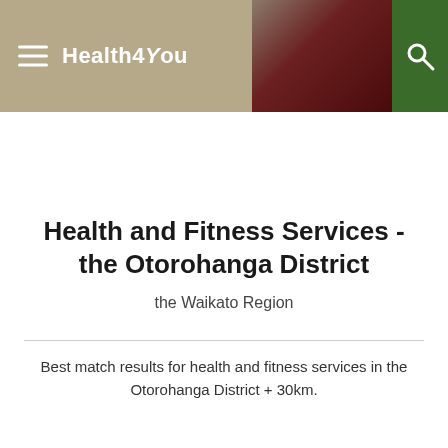Health4You
Health and Fitness Services - the Otorohanga District
the Waikato Region
Best match results for health and fitness services in the Otorohanga District + 30km.